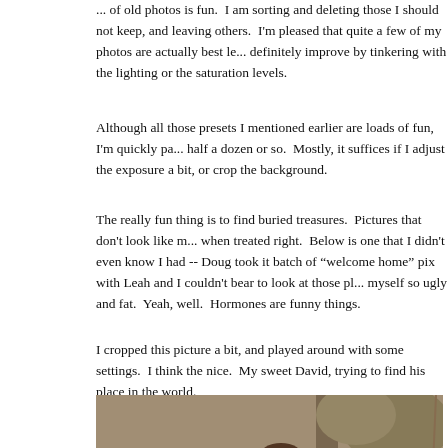... of old photos is fun.  I am sorting and deleting those I should not keep, and leaving others.  I'm pleased that quite a few of my photos are actually best le... definitely improve by tinkering with the lighting or the saturation levels.
Although all those presets I mentioned earlier are loads of fun, I'm quickly pa... half a dozen or so.  Mostly, it suffices if I adjust the exposure a bit, or crop the background.
The really fun thing is to find buried treasures.  Pictures that don't look like m... when treated right.  Below is one that I didn't even know I had -- Doug took it batch of "welcome home" pix with Leah and I couldn't bear to look at those pl... myself so ugly and fat.  Yeah, well.  Hormones are funny things.
I cropped this picture a bit, and played around with some settings.  I think the nice.  My sweet David, trying to find his place in the world.
[Figure (photo): Sepia-toned photo of a woman sitting on a wooden bench outdoors, holding and looking down at a newborn baby, while a young boy stands to the right of the bench looking thoughtful, with trees and a swing visible in the background.]